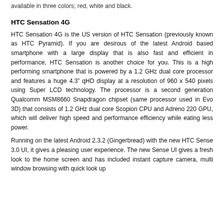available in three colors; red, white and black.
HTC Sensation 4G
HTC Sensation 4G is the US version of HTC Sensation (previously known as HTC Pyramid). If you are desirous of the latest Android based smartphone with a large display that is also fast and efficient in performance, HTC Sensation is another choice for you. This is a high performing smartphone that is powered by a 1.2 GHz dual core processor and features a huge 4.3″ qHD display at a resolution of 960 x 540 pixels using Super LCD technology. The processor is a second generation Qualcomm MSM8660 Snapdragon chipset (same processor used in Evo 3D) that consists of 1.2 GHz dual core Scopion CPU and Adreno 220 GPU, which will deliver high speed and performance efficiency while eating less power.
Running on the latest Android 2.3.2 (Gingerbread) with the new HTC Sense 3.0 UI, it gives a pleasing user experience. The new Sense UI gives a fresh look to the home screen and has included instant capture camera, multi window browsing with quick look up